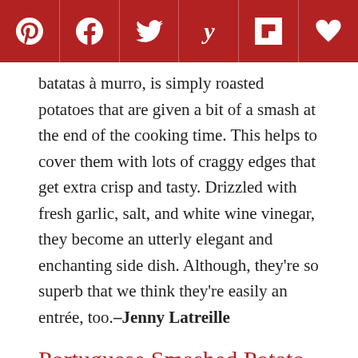[Figure (other): Social sharing bar with icons for Pinterest, Facebook, Twitter, Yummly, Flipboard, and a heart/save button on a dark red background]
batatas à murro, is simply roasted potatoes that are given a bit of a smash at the end of the cooking time. This helps to cover them with lots of craggy edges that get extra crisp and tasty. Drizzled with fresh garlic, salt, and white wine vinegar, they become an utterly elegant and enchanting side dish. Although, they're so superb that we think they're easily an entrée, too.–Jenny Latreille
Portuguese Smashed Potato FAQs
What sized potatoes are best for smashed potatoes?